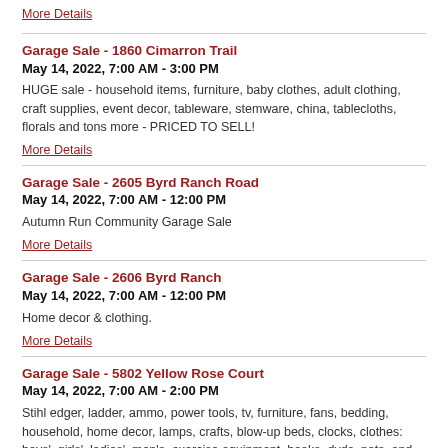More Details
Garage Sale - 1860 Cimarron Trail
May 14, 2022, 7:00 AM - 3:00 PM
HUGE sale - household items, furniture, baby clothes, adult clothing, craft supplies, event decor, tableware, stemware, china, tablecloths, florals and tons more - PRICED TO SELL!
More Details
Garage Sale - 2605 Byrd Ranch Road
May 14, 2022, 7:00 AM - 12:00 PM
Autumn Run Community Garage Sale
More Details
Garage Sale - 2606 Byrd Ranch
May 14, 2022, 7:00 AM - 12:00 PM
Home decor & clothing.
More Details
Garage Sale - 5802 Yellow Rose Court
May 14, 2022, 7:00 AM - 2:00 PM
Stihl edger, ladder, ammo, power tools, tv, furniture, fans, bedding, household, home decor, lamps, crafts, blow-up beds, clocks, clothes: boys', girls', ladies', men's, exercise equipment, books, dvds, pots, and more.
More Details